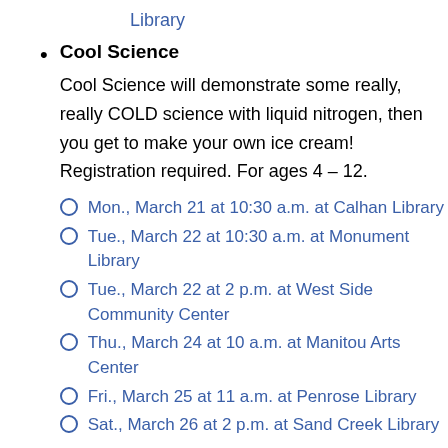Library
Cool Science
Cool Science will demonstrate some really, really COLD science with liquid nitrogen, then you get to make your own ice cream! Registration required. For ages 4 – 12.
Mon., March 21 at 10:30 a.m. at Calhan Library
Tue., March 22 at 10:30 a.m. at Monument Library
Tue., March 22 at 2 p.m. at West Side Community Center
Thu., March 24 at 10 a.m. at Manitou Arts Center
Fri., March 25 at 11 a.m. at Penrose Library
Sat., March 26 at 2 p.m. at Sand Creek Library